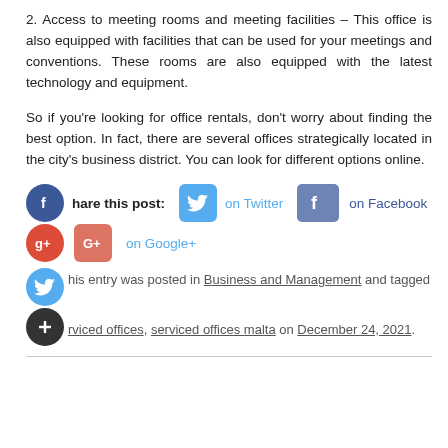2. Access to meeting rooms and meeting facilities – This office is also equipped with facilities that can be used for your meetings and conventions. These rooms are also equipped with the latest technology and equipment.
So if you're looking for office rentals, don't worry about finding the best option. In fact, there are several offices strategically located in the city's business district. You can look for different options online.
[Figure (infographic): Social sharing buttons: Facebook (circle), 'Share this post:' label, Twitter bird icon button 'on Twitter', Facebook square icon 'on Facebook', Google+ circle and square icons 'on Google+', Twitter circle icon, plus circle icon. Entry metadata: posted in Business and Management, tagged serviced offices, serviced offices malta on December 24, 2021.]